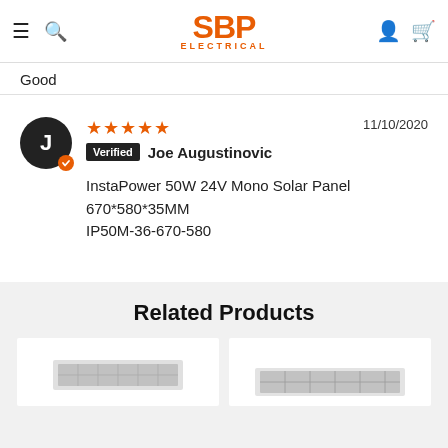[Figure (screenshot): SBP Electrical website header with hamburger menu, search icon, SBP Electrical orange logo, user icon, and cart icon]
Good
★★★★★  11/10/2020
Verified Joe Augustinovic
InstaPower 50W 24V Mono Solar Panel 670*580*35MM IP50M-36-670-580
Related Products
[Figure (photo): Two related product cards showing solar panels on grey background]